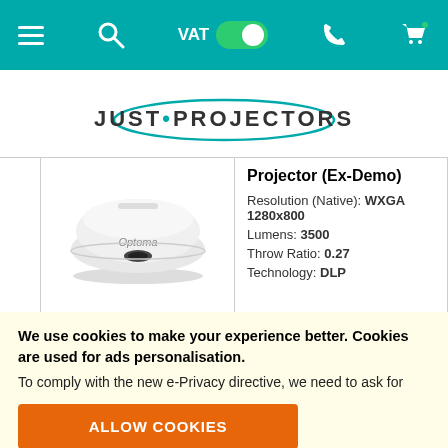VAT [toggle on] navigation bar with hamburger menu, search, phone, and cart icons
[Figure (logo): Just Projectors logo with teal oval and dot separator]
Projector (Ex-Demo)
[Figure (photo): Optoma ceiling-mount ultra-short throw projector, white, viewed from above/side]
Resolution (Native): WXGA 1280x800
Lumens: 3500
Throw Ratio: 0.27
Technology: DLP
We use cookies to make your experience better. Cookies are used for ads personalisation.
To comply with the new e-Privacy directive, we need to ask for your consent to set the cookies. Learn more.
ALLOW COOKIES